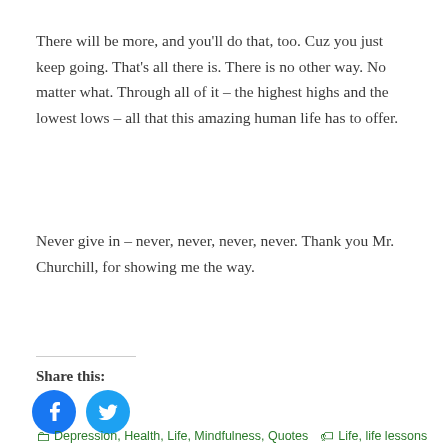There will be more, and you'll do that, too. Cuz you just keep going. That's all there is. There is no other way. No matter what. Through all of it – the highest highs and the lowest lows – all that this amazing human life has to offer.
Never give in – never, never, never, never. Thank you Mr. Churchill, for showing me the way.
Share this:
[Figure (infographic): Facebook and Twitter circular share icon buttons in blue]
Loading...
Depression, Health, Life, Mindfulness, Quotes   Life, life lessons